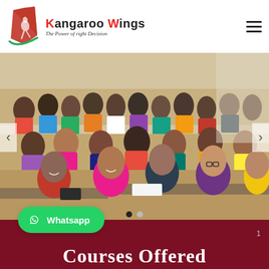[Figure (logo): Kangaroo Wings logo: red geometric kangaroo shape with green swoosh, text 'Kangaroo Wings' and tagline 'The Power of right Decision']
[Figure (photo): Classroom full of students sitting at desks, smiling and engaged, in a modern classroom setting]
[Figure (other): Whatsapp button with WhatsApp icon and text 'Whatsapp']
Courses Offered